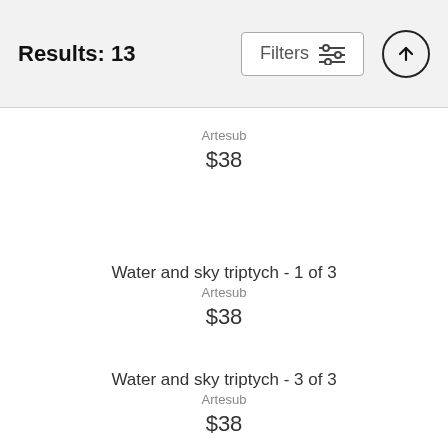Results: 13 | Filters
Artesub
$38
Water and sky triptych - 1 of 3
Artesub
$38
Water and sky triptych - 3 of 3
Artesub
$38